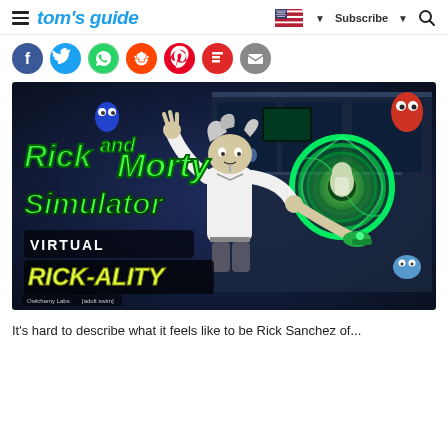tom's guide | Subscribe
[Figure (other): Social sharing icons: Facebook, Twitter, WhatsApp, Reddit, Pinterest, Flipboard, Email]
[Figure (screenshot): Rick and Morty: Virtual Rick-ality VR game promotional image showing Rick character with a glowing green portal, game title logo in green text on dark sci-fi lab background. Logos for Owlchemy Labs and Adult Swim.]
It's hard to describe what it feels like to be Rick Sanchez of...